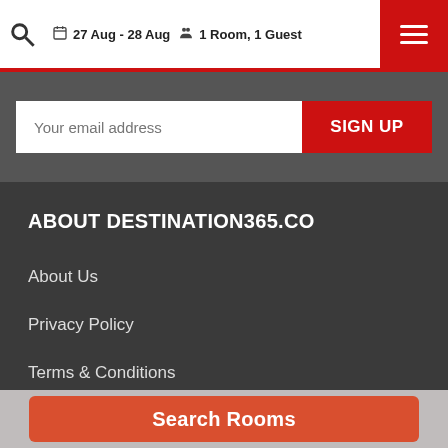27 Aug - 28 Aug  |  1 Room, 1 Guest
Your email address
SIGN UP
ABOUT DESTINATION365.CO
About Us
Privacy Policy
Terms & Conditions
Why Book With us
Earn Loyalty Points
Search Rooms